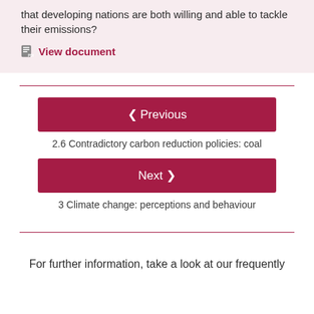that developing nations are both willing and able to tackle their emissions?
View document
2.6 Contradictory carbon reduction policies: coal
3 Climate change: perceptions and behaviour
For further information, take a look at our frequently